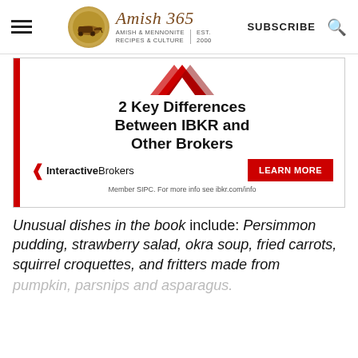Amish 365 — AMISH & MENNONITE RECIPES & CULTURE | EST. 2000 | SUBSCRIBE
[Figure (infographic): Interactive Brokers advertisement: '2 Key Differences Between IBKR and Other Brokers' with a Learn More button and Member SIPC disclaimer]
Unusual dishes in the book include: Persimmon pudding, strawberry salad, okra soup, fried carrots, squirrel croquettes, and fritters made from pumpkin, parsnips and asparagus.